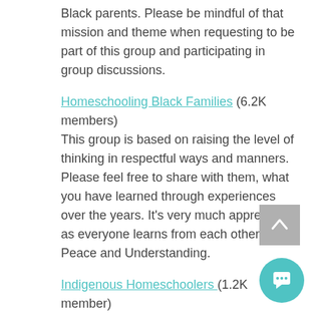Black parents. Please be mindful of that mission and theme when requesting to be part of this group and participating in group discussions.
Homeschooling Black Families (6.2K members)
This group is based on raising the level of thinking in respectful ways and manners. Please feel free to share with them, what you have learned through experiences over the years. It's very much appreciated as everyone learns from each other. Peace and Understanding.
Indigenous Homeschoolers (1.2K member)
A community for Indigenous